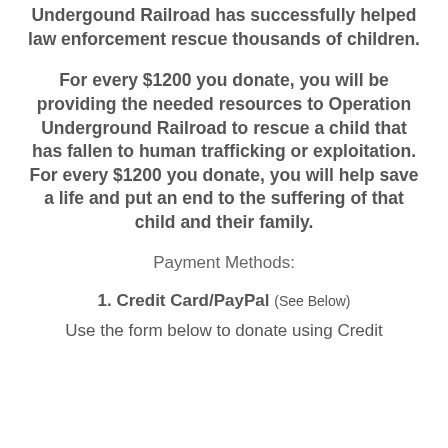Undergound Railroad has successfully helped law enforcement rescue thousands of children.
For every $1200 you donate, you will be providing the needed resources to Operation Underground Railroad to rescue a child that has fallen to human trafficking or exploitation. For every $1200 you donate, you will help save a life and put an end to the suffering of that child and their family.
Payment Methods:
1. Credit Card/PayPal (See Below)
Use the form below to donate using Credit